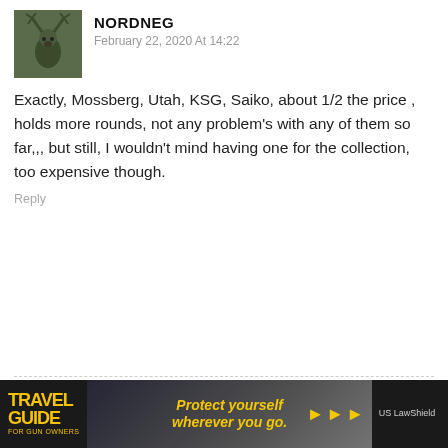[Figure (photo): Avatar image of a deer/stag head on dark background]
NORDNEG
February 22, 2020 At 14:22
Exactly, Mossberg, Utah, KSG, Saiko, about 1/2 the price , holds more rounds, not any problem's with any of them so far,,, but still, I wouldn't mind having one for the collection, too expensive though.
Reply
[Figure (photo): Generic user avatar silhouette on gray background]
Gadsden Flag
February 22, 2020 At 14:24
No experience with this M4, but I have owned several M1 Super90s over the years. One M3 Super 90 which I hated. The M1s were good, reliable shotguns. I used them in three gun matches, but shotguns are best left to what I was doing this time last week. Shooting quail. Or some other form of
[Figure (advertisement): Travel Guide for Gun Owners advertisement banner with US LawShield. Text: Protect yourself wherever you go.]